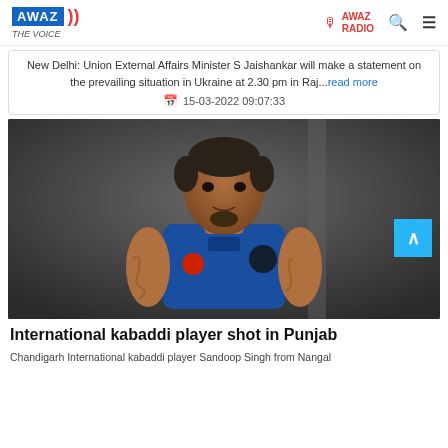AWAZ THE VOICE | AWAZ RADIO
New Delhi: Union External Affairs Minister S Jaishankar will make a statement on the prevailing situation in Ukraine at 2.30 pm in Raj...read more
15-03-2022 09:07:33
[Figure (photo): Photo of international kabaddi player Sandoop Singh wearing a blue sleeveless jersey with tattoos on his arms, standing against a dark background]
International kabaddi player shot in Punjab
Chandigarh International kabaddi player Sandoop Singh from Nangal